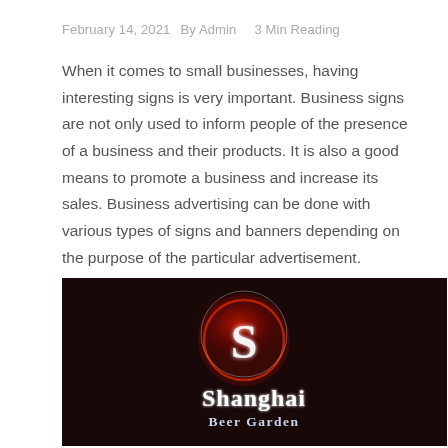February 14, 2021   By Admin   3 Min Reading
When it comes to small businesses, having interesting signs is very important. Business signs are not only used to inform people of the presence of a business and their products. It is also a good means to promote a business and increase its sales. Business advertising can be done with various types of signs and banners depending on the purpose of the particular advertisement.
[Figure (photo): Illuminated business sign for 'Shanghai Beer Garden' — a glowing red dragon logo above the white-lit text name on a dark background.]